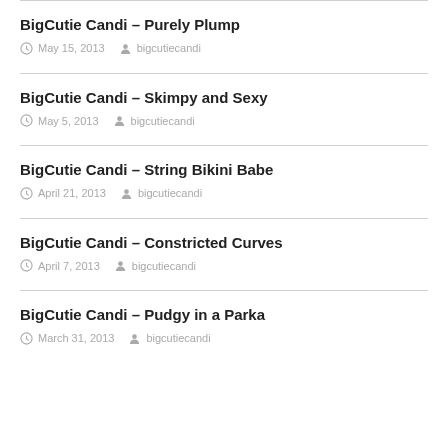BigCutie Candi – Purely Plump
May 15, 2013  bigcutiecandi
BigCutie Candi – Skimpy and Sexy
May 5, 2013  bigcutiecandi
BigCutie Candi – String Bikini Babe
April 21, 2013  bigcutiecandi
BigCutie Candi – Constricted Curves
April 7, 2013  bigcutiecandi
BigCutie Candi – Pudgy in a Parka
March 31, 2013  bigcutiecandi